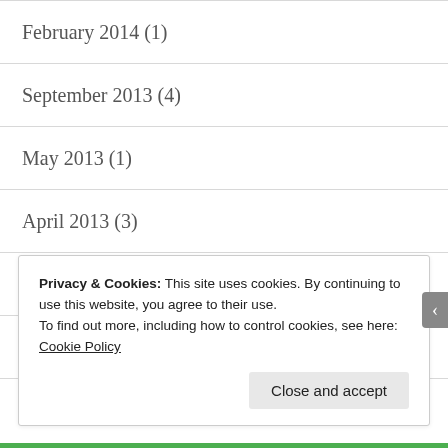February 2014 (1)
September 2013 (4)
May 2013 (1)
April 2013 (3)
February 2013 (2)
January 2013 (2)
November 2012 (2)
Privacy & Cookies: This site uses cookies. By continuing to use this website, you agree to their use.
To find out more, including how to control cookies, see here:
Cookie Policy
Close and accept